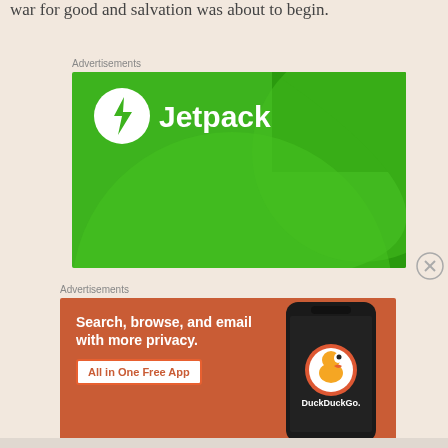war for good and salvation was about to begin.
Advertisements
[Figure (illustration): Jetpack advertisement banner with green background, Jetpack logo (circle with lightning bolt) and 'Jetpack' text in white, with decorative green circles]
[Figure (illustration): Close/dismiss button (X in a circle) for advertisement]
Advertisements
[Figure (illustration): DuckDuckGo advertisement banner with orange-red background. Left side: bold white text 'Search, browse, and email with more privacy.' with white button 'All in One Free App'. Right side: phone displaying DuckDuckGo app with duck logo and 'DuckDuckGo.' text]